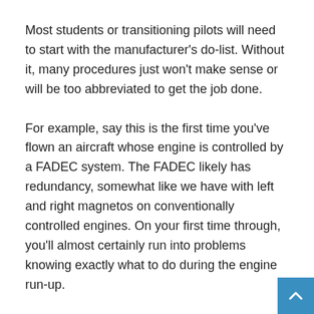Most students or transitioning pilots will need to start with the manufacturer's do-list. Without it, many procedures just won't make sense or will be too abbreviated to get the job done.
For example, say this is the first time you've flown an aircraft whose engine is controlled by a FADEC system. The FADEC likely has redundancy, somewhat like we have with left and right magnetos on conventionally controlled engines. On your first time through, you'll almost certainly run into problems knowing exactly what to do during the engine run-up.
There are likely instructions in the do-list that tell you to push a button to disable one FADEC or channel at a time, similar to the mag check you've done for years. But, once you've been through that a couple times, a simplified checklist that just tells you something like, “FADEC—Checked” would suffice. When you get to that point, consider switching to a prepared